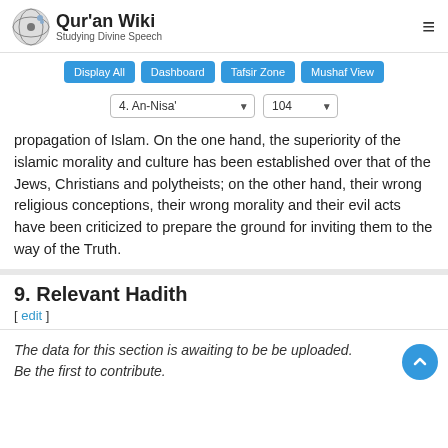Qur'an Wiki — Studying Divine Speech
Display All  Dashboard  Tafsir Zone  Mushaf View
4. An-Nisa' 104
propagation of Islam. On the one hand, the superiority of the islamic morality and culture has been established over that of the Jews, Christians and polytheists; on the other hand, their wrong religious conceptions, their wrong morality and their evil acts have been criticized to prepare the ground for inviting them to the way of the Truth.
9. Relevant Hadith
[ edit ]
The data for this section is awaiting to be be uploaded. Be the first to contribute.